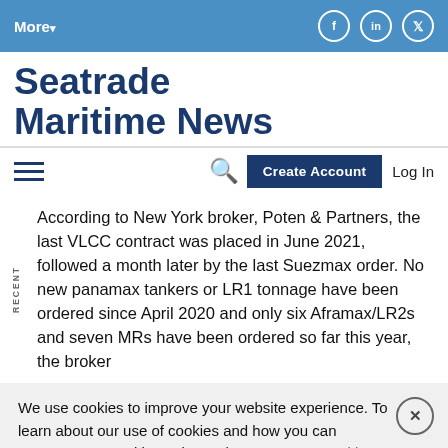More▾  [social icons: Facebook, LinkedIn, Twitter]
[Figure (logo): Seatrade Maritime News logo in dark blue bold text]
According to New York broker, Poten & Partners, the last VLCC contract was placed in June 2021, followed a month later by the last Suezmax order. No new panamax tankers or LR1 tonnage have been ordered since April 2020 and only six Aframax/LR2s and seven MRs have been ordered so far this year, the broker
We use cookies to improve your website experience. To learn about our use of cookies and how you can manage your cookie settings, please see our Cookie Policy. By continuing to use the website, you consent to our use of cookies.